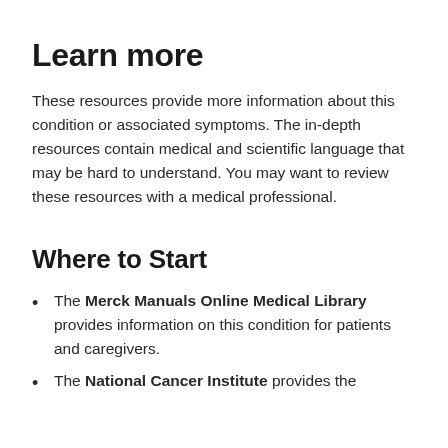Learn more
These resources provide more information about this condition or associated symptoms. The in-depth resources contain medical and scientific language that may be hard to understand. You may want to review these resources with a medical professional.
Where to Start
The Merck Manuals Online Medical Library provides information on this condition for patients and caregivers.
The National Cancer Institute provides the …